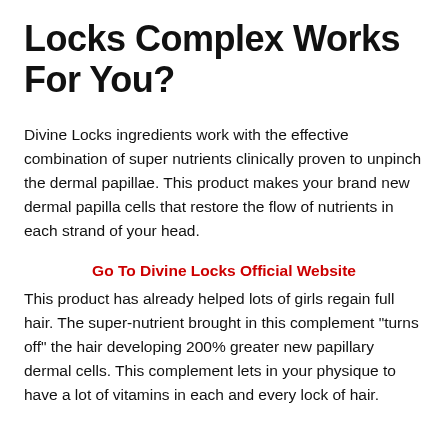Locks Complex Works For You?
Divine Locks ingredients work with the effective combination of super nutrients clinically proven to unpinch the dermal papillae. This product makes your brand new dermal papilla cells that restore the flow of nutrients in each strand of your head.
Go To Divine Locks Official Website
This product has already helped lots of girls regain full hair. The super-nutrient brought in this complement “turns off” the hair developing 200% greater new papillary dermal cells. This complement lets in your physique to have a lot of vitamins in each and every lock of hair.